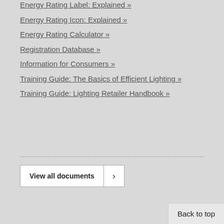Energy Rating Label: Explained »
Energy Rating Icon: Explained »
Energy Rating Calculator »
Registration Database »
Information for Consumers »
Training Guide: The Basics of Efficient Lighting »
Training Guide: Lighting Retailer Handbook »
View all documents
Back to top